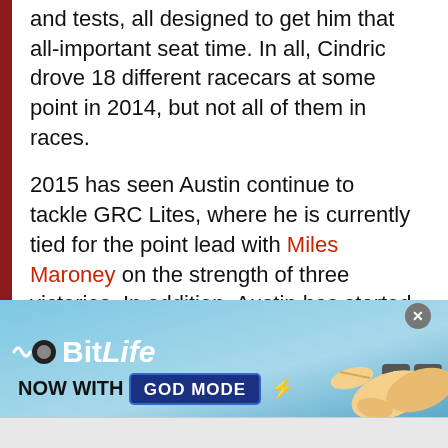and tests, all designed to get him that all-important seat time. In all, Cindric drove 18 different racecars at some point in 2014, but not all of them in races.
2015 has seen Austin continue to tackle GRC Lites, where he is currently tied for the point lead with Miles Maroney on the strength of three victories. In addition, Austin has started a full assault on sports car racing. That started with an appearance in the Liqui-Moly Bathurst 12-Hour in January, driving a Mercedes AMG SLS-GT3 for Erebus Motorsport. Two weeks later, Austin started his full-time gig in the IMSA
[Figure (screenshot): Advertisement banner for BitLife mobile game featuring 'Now With GOD MODE' text, a pointing hand graphic, close and help buttons, on a light blue gradient background.]